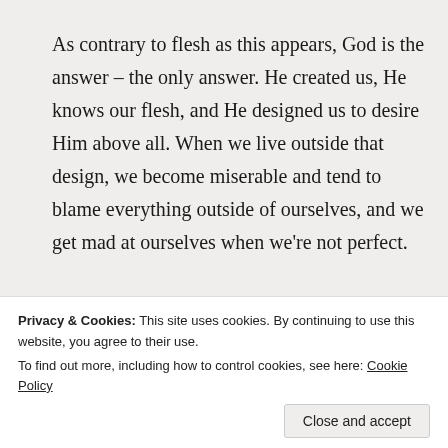As contrary to flesh as this appears, God is the answer – the only answer. He created us, He knows our flesh, and He designed us to desire Him above all. When we live outside that design, we become miserable and tend to blame everything outside of ourselves, and we get mad at ourselves when we're not perfect.
Advertisements
[Figure (screenshot): Dark navy blue advertisement banner for WordPress/Opinions with a WordPress circular 'W' logo in the top right and the word 'Opinions.' in large white serif text at the bottom left.]
Privacy & Cookies: This site uses cookies. By continuing to use this website, you agree to their use.
To find out more, including how to control cookies, see here: Cookie Policy
Close and accept